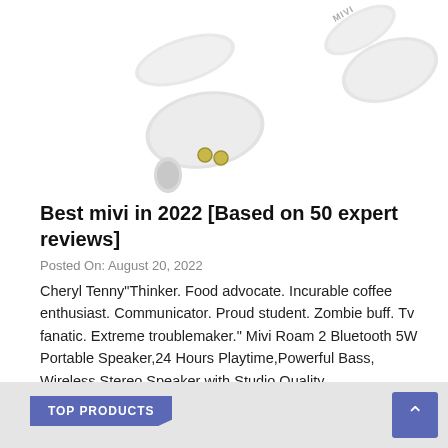[Figure (photo): White wireless earbuds/earphones (Mivi branded) on white background, partial view showing two earbuds from top portion]
Best mivi in 2022 [Based on 50 expert reviews]
Posted On: August 20, 2022
Cheryl Tenny"Thinker. Food advocate. Incurable coffee enthusiast. Communicator. Proud student. Zombie buff. Tv fanatic. Extreme troublemaker." Mivi Roam 2 Bluetooth 5W Portable Speaker,24 Hours Playtime,Powerful Bass, Wireless Stereo Speaker with Studio Quality Sound,Waterproof, Bluetooth 5.0 and in-Built Mic with Voice
TOP PRODUCTS